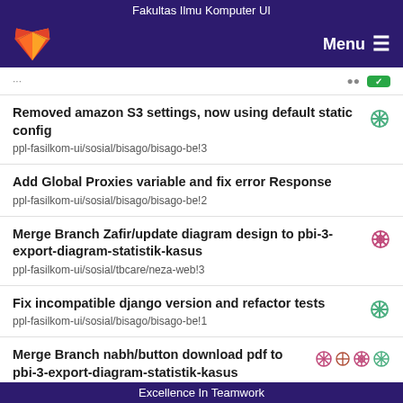Fakultas Ilmu Komputer UI
Removed amazon S3 settings, now using default static config
ppl-fasilkom-ui/sosial/bisago/bisago-be!3
Add Global Proxies variable and fix error Response
ppl-fasilkom-ui/sosial/bisago/bisago-be!2
Merge Branch Zafir/update diagram design to pbi-3-export-diagram-statistik-kasus
ppl-fasilkom-ui/sosial/tbcare/neza-web!3
Fix incompatible django version and refactor tests
ppl-fasilkom-ui/sosial/bisago/bisago-be!1
Merge Branch nabh/button download pdf to pbi-3-export-diagram-statistik-kasus
Excellence In Teamwork